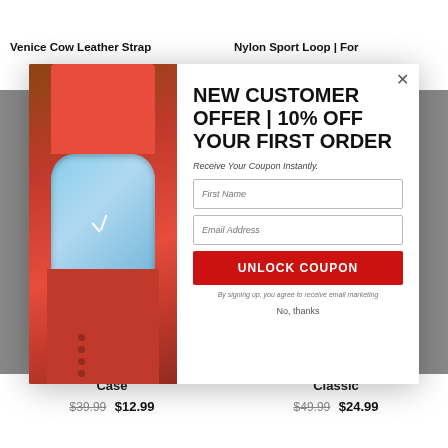Venice Cow Leather Strap
Nylon Sport Loop | For
[Figure (photo): Red Apple Watch with red sport band lying on wooden surface with keys]
NEW CUSTOMER OFFER | 10% OFF YOUR FIRST ORDER
Receive Your Coupon Instantly.
First Name
Email Address
UNLOCK COUPON
By signing up, you agree to receive email marketing
No, thanks
Case
$39.99 $12.99
Classic
$49.99 $24.99